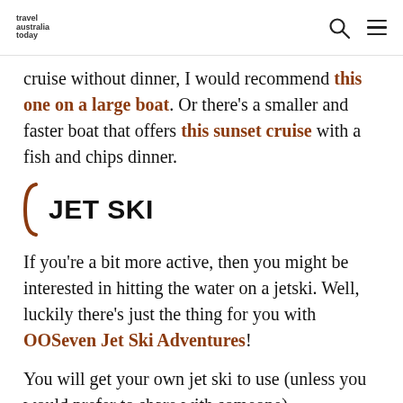travel australia today
cruise without dinner, I would recommend this one on a large boat. Or there's a smaller and faster boat that offers this sunset cruise with a fish and chips dinner.
JET SKI
If you're a bit more active, then you might be interested in hitting the water on a jetski. Well, luckily there's just the thing for you with OOSeven Jet Ski Adventures!
You will get your own jet ski to use (unless you would prefer to share with someone)